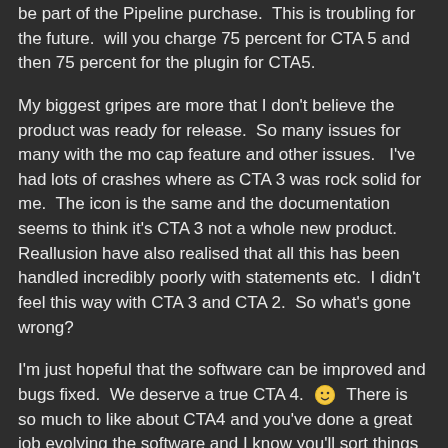be part of the Pipeline purchase.  This is troubling for the future.  will you charge 75 percent for CTA 5 and then 75 percent for the plugin for CTA5.
My biggest gripes are more that I don't believe the product was ready for release.  So many issues for many with the mo cap feature and other issues.   I've had lots of crashes where as CTA 3 was rock solid for me.  The icon is the same and the documentation seems to think it's CTA 3 not a whole new product.  Reallusion have also realised that all this has been handled incredibly poorly with statements etc.  I didn't feel this way with CTA 3 and CTA 2.  So what's gone wrong?
I'm just hopeful that the software can be improved and bugs fixed.  We deserve a true CTA 4. 🙂 There is so much to like about CTA4 and you've done a great job evolving the software and I know you'll sort things out and soon 🙂
Edited